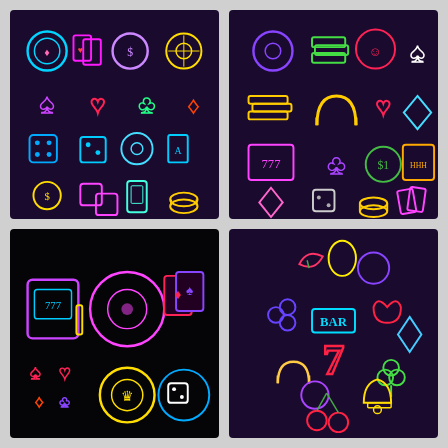[Figure (illustration): Neon casino icons on dark purple background: poker chip, playing cards, dollar chip, roulette wheel, spade, heart, club, diamond suits, dice, pool ball, card, money bag, dice pair, mobile phone, coins]
[Figure (illustration): Neon casino icons on dark purple background: roulette wheel, cash stack, joker card, spade, gold coins, horseshoe, heart, diamond, slot 777, club, dollar coin, slot machine, diamond, dice, coin stack, cards]
[Figure (illustration): Neon casino icons on black background: slot machine, roulette wheel, playing cards, suit symbols (spade heart diamond club), poker chip with crown, dice with moon]
[Figure (illustration): Neon circular composition of slot machine symbols on dark purple background: watermelon, lemon, plum, grapes, BAR, strawberry, diamond, 7, horseshoe, plum, clover, cherries, bell, fruits arranged in circle]